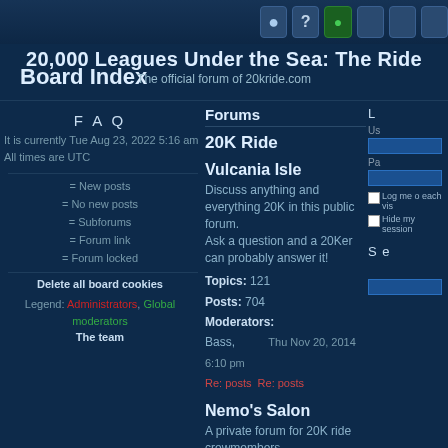20,000 Leagues Under the Sea: The Ride — Board Index — The official forum of 20kride.com
FAQ
It is currently Tue Aug 23, 2022 5:16 am
All times are UTC
= New posts
= No new posts
= Subforums
= Forum link
= Forum locked
Delete all board cookies
Legend: Administrators, Global moderators
The team
Forums
20K Ride
Vulcania Isle
Discuss anything and everything 20K in this public forum.
Ask a question and a 20Ker can probably answer it!
Topics: 121
Posts: 704
Moderators: Bass,
Thu Nov 20, 2014 6:10 pm
Nemo's Salon
A private forum for 20K ride crewmembers.
Contact Propwash (AKA Dave) for access.
Topics: 8
Posts: 44
Moderators: